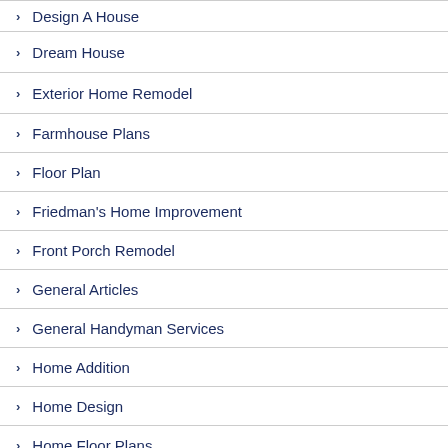Design A House
Dream House
Exterior Home Remodel
Farmhouse Plans
Floor Plan
Friedman's Home Improvement
Front Porch Remodel
General Articles
General Handyman Services
Home Addition
Home Design
Home Floor Plans
Home Improvement Companies